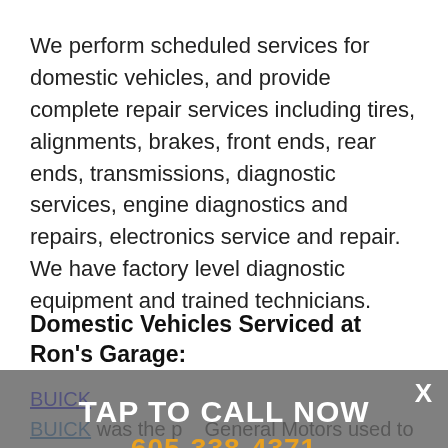We perform scheduled services for domestic vehicles, and provide complete repair services including tires, alignments, brakes, front ends, rear ends, transmissions, diagnostic services, engine diagnostics and repairs, electronics service and repair. We have factory level diagnostic equipment and trained technicians.
Domestic Vehicles Serviced at Ron's Garage:
BUICK
BUICK was the p... General Motors used to become the world's largest automaker. Buick is the creator of the overhead valve engines and they...
[Figure (infographic): Call-to-action overlay banner with gray background showing 'TAP TO CALL NOW' in white text and phone number '605-338-4371' in orange text, with an X close button in the top right corner.]